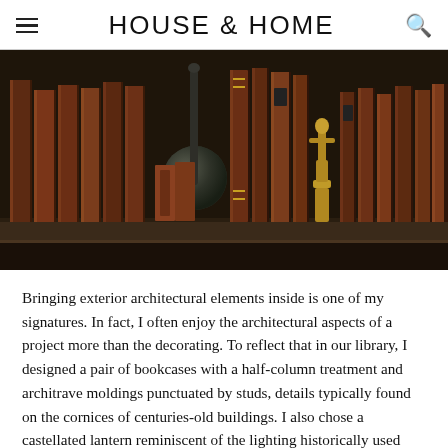HOUSE & HOME
[Figure (photo): A close-up photograph of a dark wood bookshelf filled with antique leather-bound books of various sizes and colors, along with a dark bronze sculpture and a golden statuette figure.]
Bringing exterior architectural elements inside is one of my signatures. In fact, I often enjoy the architectural aspects of a project more than the decorating. To reflect that in our library, I designed a pair of bookcases with a half-column treatment and architrave moldings punctuated by studs, details typically found on the cornices of centuries-old buildings. I also chose a castellated lantern reminiscent of the lighting historically used outdoors. For the walls, I chose